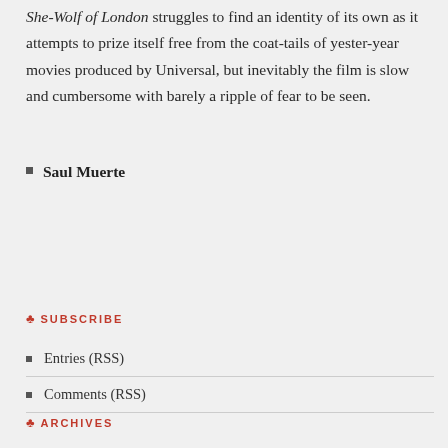She-Wolf of London struggles to find an identity of its own as it attempts to prize itself free from the coat-tails of yester-year movies produced by Universal, but inevitably the film is slow and cumbersome with barely a ripple of fear to be seen.
Saul Muerte
♣ SUBSCRIBE
Entries (RSS)
Comments (RSS)
♣ ARCHIVES